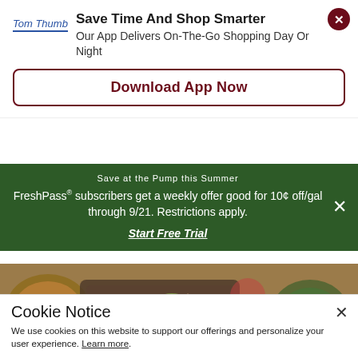[Figure (logo): Tom Thumb logo in blue cursive script with underline]
Save Time And Shop Smarter
Our App Delivers On-The-Go Shopping Day Or Night
Download App Now
Save at the Pump this Summer
FreshPass® subscribers get a weekly offer good for 10¢ off/gal through 9/21. Restrictions apply.
Start Free Trial
[Figure (photo): Food photo showing dishes with herbed chicken, salads, and drinks on a wooden table. Red banner overlay reads SAVE $30.]
Cookie Notice
We use cookies on this website to support our offerings and personalize your user experience. Learn more.